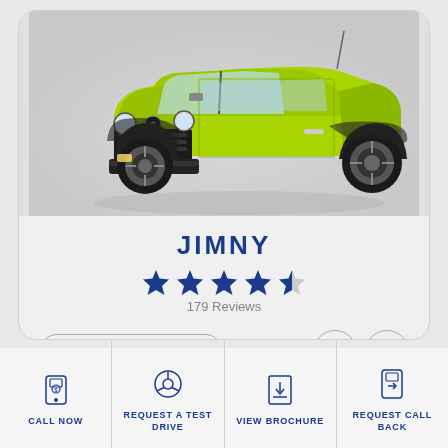[Figure (photo): Suzuki Jimny lime green SUV vehicle promotional photo, front-right three-quarter view on grey background]
JIMNY
[Figure (other): 4.5 out of 5 stars rating displayed as 4 full blue stars and 1 half blue star]
179 Reviews
READ REVIEWS →
CALL NOW
REQUEST A TEST DRIVE
VIEW BROCHURE
REQUEST CALL BACK